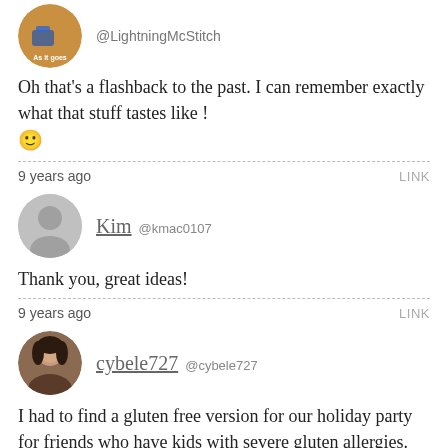[Figure (photo): Circular avatar image with tan/brown background and blue element, with text 'As it goes']
@LightningMcStitch
Oh that’s a flashback to the past. I can remember exactly what that stuff tastes like ! 🙂
9 years ago
LINK
[Figure (photo): Generic gray circular avatar placeholder with person silhouette]
Kim @kmac0107
Thank you, great ideas!
9 years ago
LINK
[Figure (photo): Circular avatar photo of a woman with dark hair]
cybele727 @cybele727
I had to find a gluten free version for our holiday party for friends who have kids with severe gluten allergies. As we don’t have tons of toys (or any uber masculine “boy” toys–more gender neutral stuff) and there will be 10